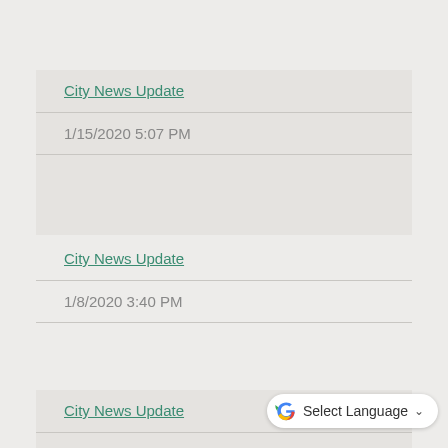City News Update
1/15/2020 5:07 PM
City News Update
1/8/2020 3:40 PM
City News Update
12/18/2019 4:39 PM